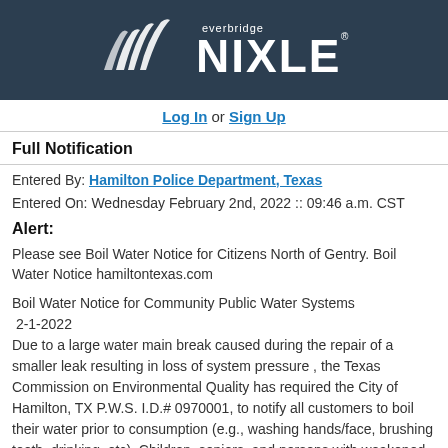[Figure (logo): Everbridge NIXLE logo on dark navy background]
Log In or Sign Up
Full Notification
Entered By: Hamilton Police Department, Texas
Entered On: Wednesday February 2nd, 2022 :: 09:46 a.m. CST
Alert:
Please see Boil Water Notice for Citizens North of Gentry. Boil Water Notice hamiltontexas.com
Boil Water Notice for Community Public Water Systems
2-1-2022
Due to a large water main break caused during the repair of a smaller leak resulting in loss of system pressure , the Texas Commission on Environmental Quality has required the City of Hamilton, TX P.W.S. I.D.# 0970001, to notify all customers to boil their water prior to consumption (e.g., washing hands/face, brushing teeth, drinking, etc). Children, seniors, and persons with weakened immune systems are particularly